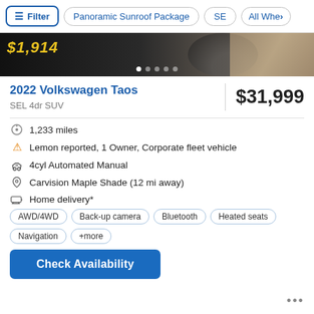Filter | Panoramic Sunroof Package | SE | All Whe>
[Figure (screenshot): Dark car interior/exterior image banner showing price overlay $1,914 and dot navigation indicators]
2022 Volkswagen Taos
$31,999
SEL 4dr SUV
1,233 miles
Lemon reported, 1 Owner, Corporate fleet vehicle
4cyl Automated Manual
Carvision Maple Shade (12 mi away)
Home delivery*
AWD/4WD  Back-up camera  Bluetooth  Heated seats  Navigation  +more
Check Availability